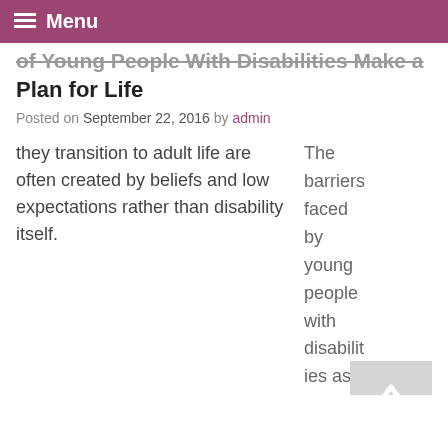Menu
of Young People With Disabilities Make a Plan for Life
Posted on September 22, 2016 by admin
The barriers faced by young people with disabilities as they transition to adult life are often created by beliefs and low expectations rather than disability itself.
This was just one of the points made by Sue Bock